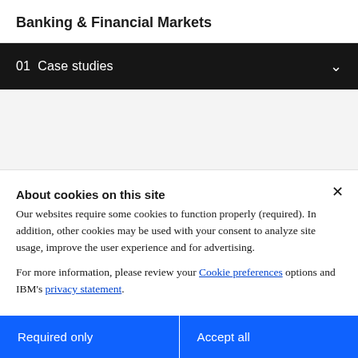Banking & Financial Markets
01  Case studies
[Figure (screenshot): Gray empty content area below the navigation bar]
About cookies on this site
Our websites require some cookies to function properly (required). In addition, other cookies may be used with your consent to analyze site usage, improve the user experience and for advertising.

For more information, please review your Cookie preferences options and IBM's privacy statement.
Required only
Accept all